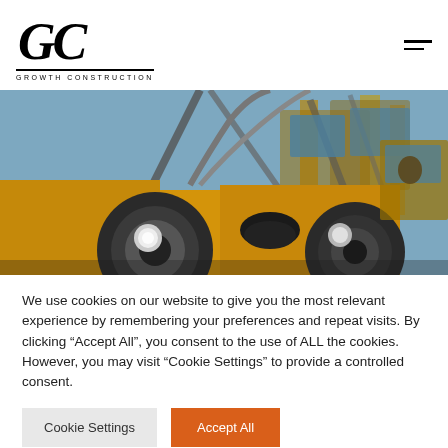[Figure (logo): GC Growth Construction logo — stylized italic GC monogram with 'GROWTH CONSTRUCTION' text below]
[Figure (photo): Close-up photo of large yellow construction machinery/excavators lined up, showing tires, hydraulic arms, and headlights against a blue sky]
We use cookies on our website to give you the most relevant experience by remembering your preferences and repeat visits. By clicking “Accept All”, you consent to the use of ALL the cookies. However, you may visit "Cookie Settings" to provide a controlled consent.
[Figure (other): Cookie Settings button (grey) and Accept All button (orange)]